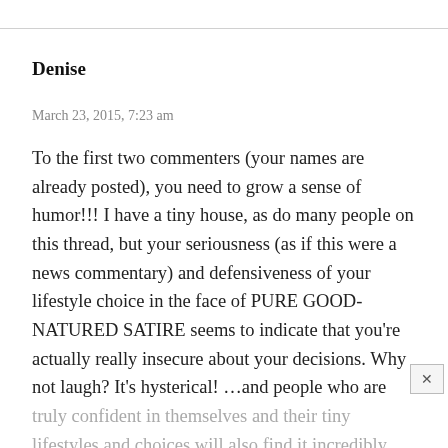Denise
March 23, 2015, 7:23 am
To the first two commenters (your names are already posted), you need to grow a sense of humor!!! I have a tiny house, as do many people on this thread, but your seriousness (as if this were a news commentary) and defensiveness of your lifestyle choice in the face of PURE GOOD-NATURED SATIRE seems to indicate that you're actually really insecure about your decisions. Why not laugh? It's hysterical! …and people who are truly confident in themselves and their tiny lifestyles and choices will also find it incredibly funny – with just